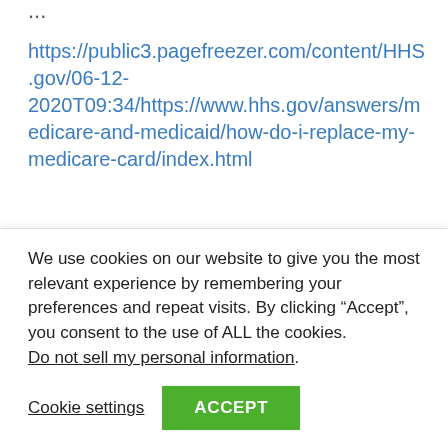...
https://public3.pagefreezer.com/content/HHS.gov/06-12-2020T09:34/https://www.hhs.gov/answers/medicare-and-medicaid/how-do-i-replace-my-medicare-card/index.html
If don’t already have a Social Security on-line account, you can create one online. Go to Sign In or Create an Account. Once you are
We use cookies on our website to give you the most relevant experience by remembering your preferences and repeat visits. By clicking “Accept”, you consent to the use of ALL the cookies.
Do not sell my personal information.
Cookie settings
ACCEPT